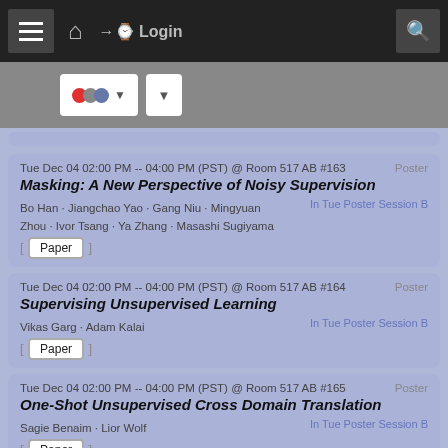≡ 🏠 Login 🔍
Filter controls with color dots and dropdown arrows
Tue Dec 04 02:00 PM -- 04:00 PM (PST) @ Room 517 AB #163 | Poster | Masking: A New Perspective of Noisy Supervision | Bo Han · Jiangchao Yao · Gang Niu · Mingyuan Zhou · Ivor Tsang · Ya Zhang · Masashi Sugiyama | In Tue Poster Session B | Paper
Tue Dec 04 02:00 PM -- 04:00 PM (PST) @ Room 517 AB #164 | Poster | Supervising Unsupervised Learning | Vikas Garg · Adam Kalai | In Tue Poster Session B | Paper
Tue Dec 04 02:00 PM -- 04:00 PM (PST) @ Room 517 AB #165 | Poster | One-Shot Unsupervised Cross Domain Translation | Sagie Benaim · Lior Wolf | In Tue Poster Session B | Paper
Tue Dec 04 02:00 PM -- 04:00 PM (PST) @ Room 517 AB #166 | Poster